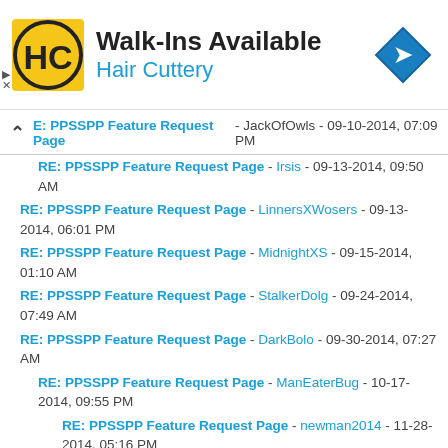[Figure (advertisement): Hair Cuttery Walk-Ins Available advertisement banner with HC logo and navigation arrow icon]
RE: PPSSPP Feature Request Page - JackOfOwls - 09-10-2014, 07:09 PM
RE: PPSSPP Feature Request Page - Irsis - 09-13-2014, 09:50 AM
RE: PPSSPP Feature Request Page - LinnersXWosers - 09-13-2014, 06:01 PM
RE: PPSSPP Feature Request Page - MidnightXS - 09-15-2014, 01:10 AM
RE: PPSSPP Feature Request Page - StalkerDolg - 09-24-2014, 07:49 AM
RE: PPSSPP Feature Request Page - DarkBolo - 09-30-2014, 07:27 AM
RE: PPSSPP Feature Request Page - ManEaterBug - 10-17-2014, 09:55 PM
RE: PPSSPP Feature Request Page - newman2014 - 11-28-2014, 05:16 PM
RE: PPSSPP Feature Request Page - Commander_C22 - 12-09-2014, 01:06 AM
RE: PPSSPP Feature Request Page - Peeka - 10-17-2014, 08:56 AM
RE: PPSSPP Feature Request Page - MouseButton - 10-19-2014,